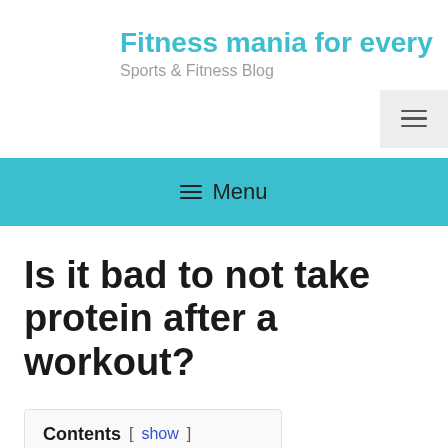Fitness mania for every
Sports & Fitness Blog
≡ Menu
Is it bad to not take protein after a workout?
Contents [ show ]